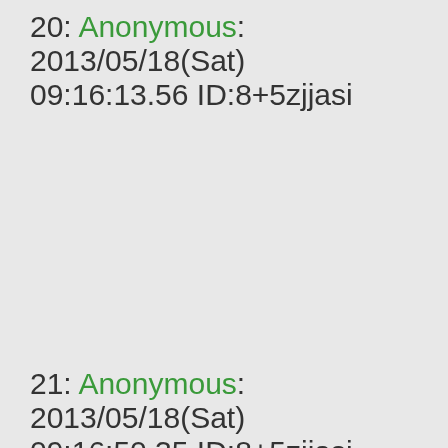20: Anonymous: 2013/05/18(Sat) 09:16:13.56 ID:8+5zjjasi
21: Anonymous: 2013/05/18(Sat) 09:16:50.35 ID:8+5zjjasi